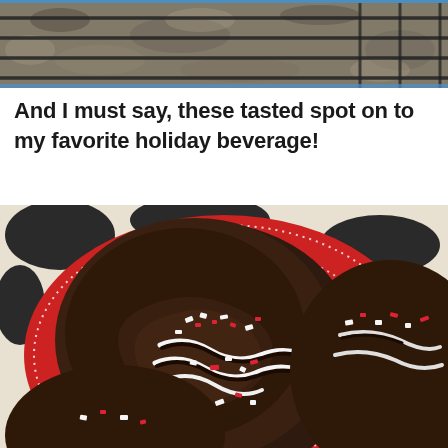[Figure (photo): Top portion of a photo showing cookies on a cooling rack with granite countertop visible]
And I must say, these tasted spot on to my favorite holiday beverage!
[Figure (photo): Close-up photo of chocolate cookies topped with white and dark chocolate drizzle and crushed peppermint candy canes, arranged on a red and white dotted plate with black and white patterned background]